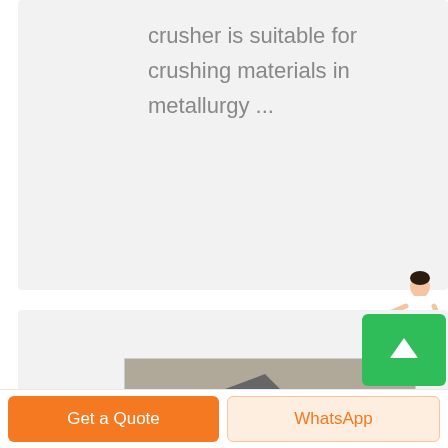crusher is suitable for crushing materials in metallurgy ...
[Figure (illustration): Free chat widget with a female customer service representative figure and a blue rounded rectangle button labeled 'Free chat']
[Figure (photo): Industrial crushing/mining plant machinery photographed outdoors with equipment and conveyor belts visible, with 'CN' watermark in yellow]
Get a Quote
WhatsApp